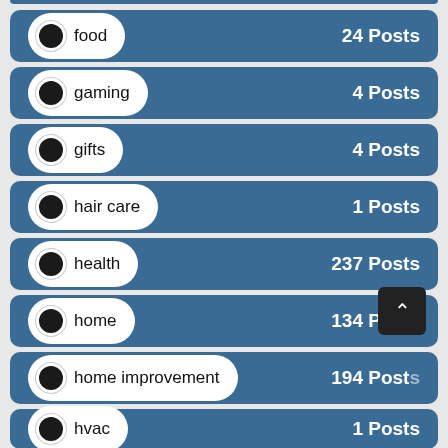food — 24 Posts
gaming — 4 Posts
gifts — 4 Posts
hair care — 1 Posts
health — 237 Posts
home — 134 Posts
home improvement — 194 Posts
hvac — 1 Posts